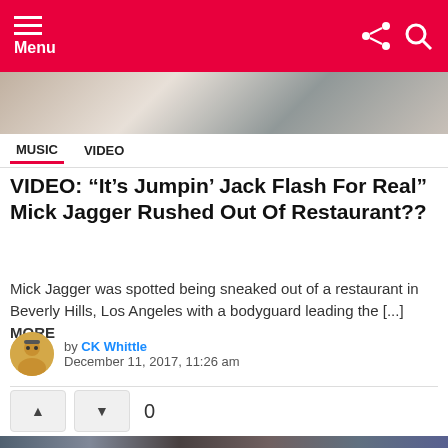Menu
[Figure (photo): Partial hero image showing a person in a restaurant or outdoor setting]
MUSIC  VIDEO
VIDEO: “It’s Jumpin’ Jack Flash For Real” Mick Jagger Rushed Out Of Restaurant??
Mick Jagger was spotted being sneaked out of a restaurant in Beverly Hills, Los Angeles with a bodyguard leading the [...] MORE
by CK Whittle
December 11, 2017, 11:26 am
[Figure (photo): Photo strip showing people with dark hair, outdoor setting]
[Figure (infographic): Amazon forest protection advertisement: Just $2 can protect 1 acre of irreplaceable forest homes in the Amazon. How many acres are you willing to protect? PROTECT FORESTS NOW]